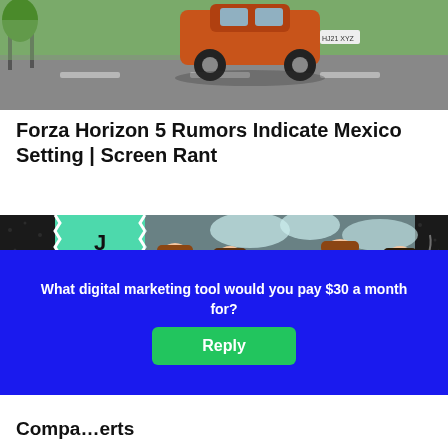[Figure (screenshot): Top portion of a racing game screenshot showing a car on a road (Forza Horizon 5)]
Forza Horizon 5 Rumors Indicate Mexico Setting | Screen Rant
[Figure (illustration): Cartoon illustration of several sad-looking businessmen in suits with red ties standing in front of a 'JOB CUTS' sign, with ET logo in lower left corner and a blue popup overlay reading 'What digital marketing tool would you pay $30 a month for?' with a green Reply button]
Compa... ...erts